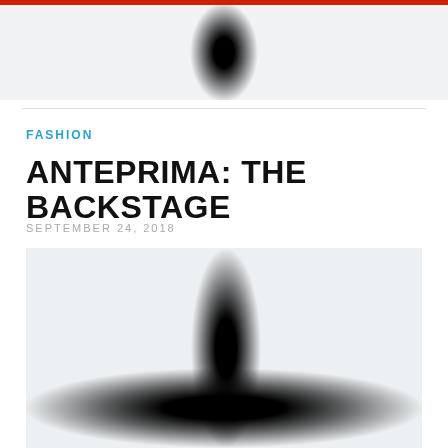[Figure (photo): Partially visible blurred black cross pattern on light gray background, cropped at top of page]
FASHION
ANTEPRIMA: THE BACKSTAGE
SEPTEMBER 24, 2018
[Figure (photo): Large blurred black cross/plus shape on light gray background filling lower portion of page]